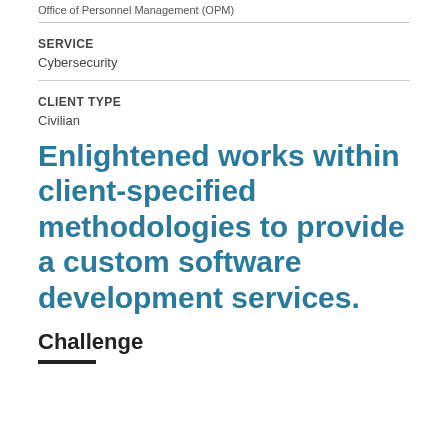Office of Personnel Management (OPM)
SERVICE
Cybersecurity
CLIENT TYPE
Civilian
Enlightened works within client-specified methodologies to provide a custom software development services.
Challenge